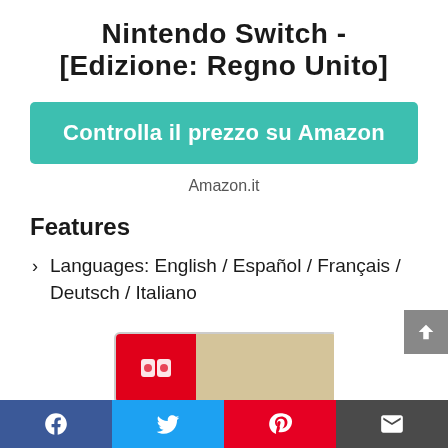Nintendo Switch - [Edizione: Regno Unito]
[Figure (other): Teal button linking to Amazon with text 'Controlla il prezzo su Amazon' and source label 'Amazon.it']
Features
Languages: English / Español / Français / Deutsch / Italiano
[Figure (photo): Partial view of a Nintendo Switch game cartridge box showing red and tan/illustrated artwork]
Social sharing bar: Facebook, Twitter, Pinterest, Email